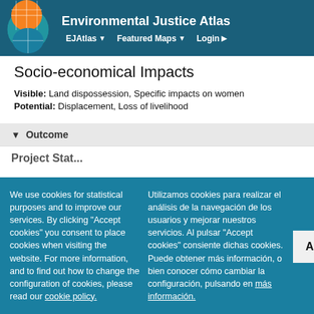Environmental Justice Atlas
Socio-economical Impacts
Visible: Land dispossession, Specific impacts on women
Potential: Displacement, Loss of livelihood
Outcome
We use cookies for statistical purposes and to improve our services. By clicking "Accept cookies" you consent to place cookies when visiting the website. For more information, and to find out how to change the configuration of cookies, please read our cookie policy.
Utilizamos cookies para realizar el análisis de la navegación de los usuarios y mejorar nuestros servicios. Al pulsar "Accept cookies" consiente dichas cookies. Puede obtener más información, o bien conocer cómo cambiar la configuración, pulsando en más información.